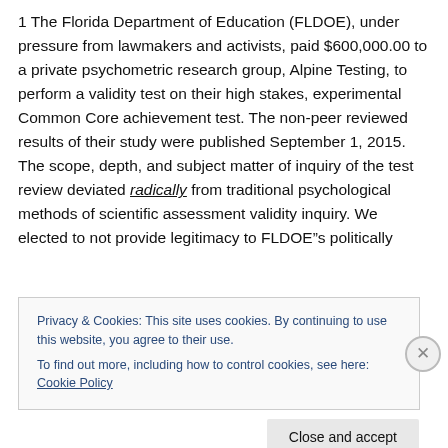1 The Florida Department of Education (FLDOE), under pressure from lawmakers and activists, paid $600,000.00 to a private psychometric research group, Alpine Testing, to perform a validity test on their high stakes, experimental Common Core achievement test. The non-peer reviewed results of their study were published September 1, 2015. The scope, depth, and subject matter of inquiry of the test review deviated radically from traditional psychological methods of scientific assessment validity inquiry. We elected to not provide legitimacy to FLDOE’s politically
Privacy & Cookies: This site uses cookies. By continuing to use this website, you agree to their use.
To find out more, including how to control cookies, see here: Cookie Policy